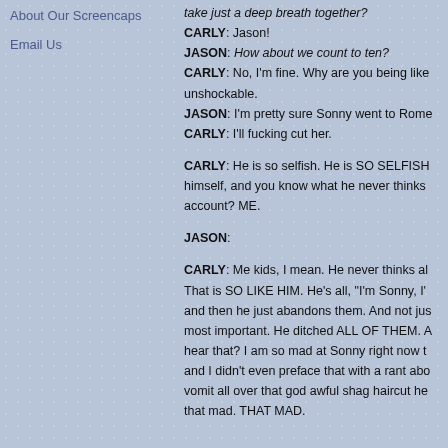About Our Screencaps
Email Us
take just a deep breath together?
CARLY: Jason!
JASON: How about we count to ten?
CARLY: No, I'm fine. Why are you being like unshockable.
JASON: I'm pretty sure Sonny went to Rome
CARLY: I'll fucking cut her.
CARLY: He is so selfish. He is SO SELFISH himself, and you know what he never thinks account? ME.
JASON:
CARLY: Me kids, I mean. He never thinks al That is SO LIKE HIM. He's all, "I'm Sonny, I' and then he just abandons them. And not jus most important. He ditched ALL OF THEM. A hear that? I am so mad at Sonny right now t and I didn't even preface that with a rant abo vomit all over that god awful shag haircut he that mad. THAT MAD.